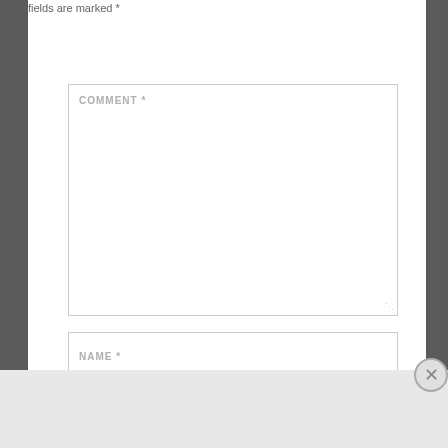fields are marked *
COMMENT *
NAME *
[Figure (screenshot): Web form with COMMENT textarea and NAME text input fields on white background with gray sidebar borders]
[Figure (advertisement): Macy's advertisement banner: KISS BORING LIPS GOODBYE with SHOP NOW button and Macy's star logo, red background with woman's face]
Advertisements